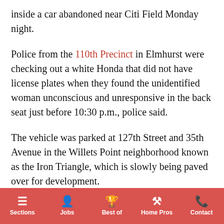inside a car abandoned near Citi Field Monday night.
Police from the 110th Precinct in Elmhurst were checking out a white Honda that did not have license plates when they found the unidentified woman unconscious and unresponsive in the back seat just before 10:30 p.m., police said.
The vehicle was parked at 127th Street and 35th Avenue in the Willets Point neighborhood known as the Iron Triangle, which is slowly being paved over for development.
The dilapidated 6-acre location on city-owned property was home to hundreds of mostly immigrant-owned auto-repair shops and scrap yards that were prone to flooding for decades due to the lack of infrastructure. Most of those
Sections | Jobs | Best of | Home Pros | Contact